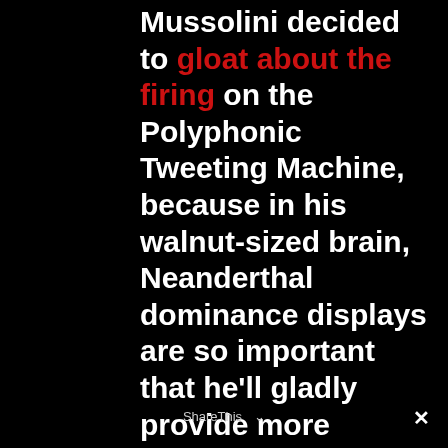Mussolini decided to gloat about the firing on the Polyphonic Tweeting Machine, because in his walnut-sized brain, Neanderthal dominance displays are so important that he'll gladly provide more evidence in the obstruction of justice case against himself, while further alienating the entire American intelligence community, who he seems to have forgotten are investigating every nook and cranny of his shitty crooked
ShareThis ∨  ✕